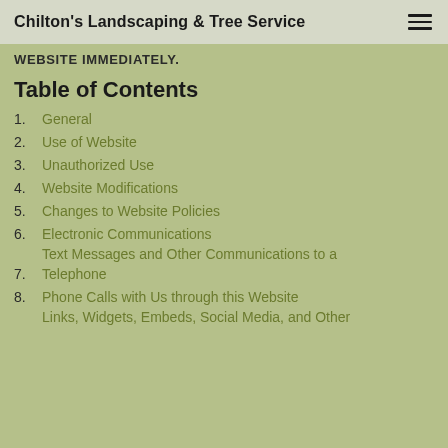Chilton's Landscaping & Tree Service
WEBSITE IMMEDIATELY.
Table of Contents
1. General
2. Use of Website
3. Unauthorized Use
4. Website Modifications
5. Changes to Website Policies
6. Electronic Communications
Text Messages and Other Communications to a
7. Telephone
8. Phone Calls with Us through this Website
Links, Widgets, Embeds, Social Media, and Other